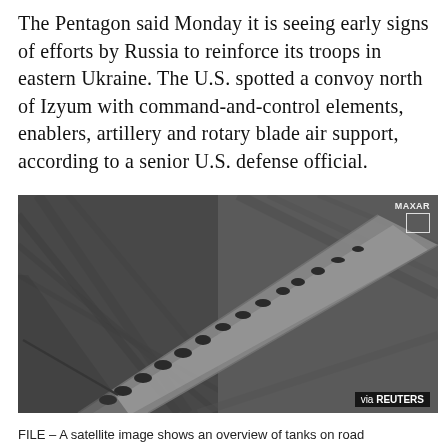The Pentagon said Monday it is seeing early signs of efforts by Russia to reinforce its troops in eastern Ukraine. The U.S. spotted a convoy north of Izyum with command-and-control elements, enablers, artillery and rotary blade air support, according to a senior U.S. defense official.
[Figure (photo): Satellite aerial image showing a convoy of military tanks on a road cutting diagonally across fields, viewed from above. MAXAR logo in top right corner, 'via REUTERS' badge in bottom right corner.]
FILE – A satellite image shows an overview of tanks on road